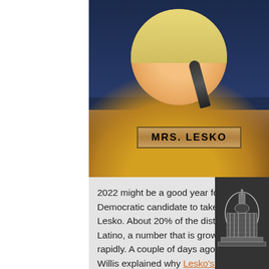[Figure (photo): Photo of Mrs. Lesko, a blonde woman in a yellow jacket speaking at a congressional hearing, with a wooden nameplate reading 'MRS. LESKO' in front of her and a dark blue background behind her.]
2022 might be a good year for a strong Democratic candidate to take on Lesko. About 20% of the district is Latino, a number that is growing rapidly. A couple of days ago Oliver Willis explained why Lesko's knee-jerk bigotry may make it harder for her to win again. Importante: "Experts say mass vaccination is